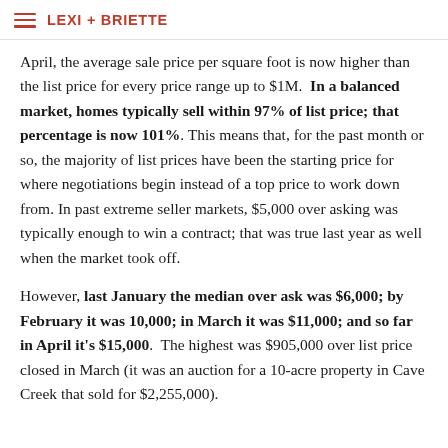LEXI + BRIETTE
April, the average sale price per square foot is now higher than the list price for every price range up to $1M. In a balanced market, homes typically sell within 97% of list price; that percentage is now 101%. This means that, for the past month or so, the majority of list prices have been the starting price for where negotiations begin instead of a top price to work down from. In past extreme seller markets, $5,000 over asking was typically enough to win a contract; that was true last year as well when the market took off.
However, last January the median over ask was $6,000; by February it was 10,000; in March it was $11,000; and so far in April it’s $15,000. The highest was $905,000 over list price closed in March (it was an auction for a 10-acre property in Cave Creek that sold for $2,255,000).